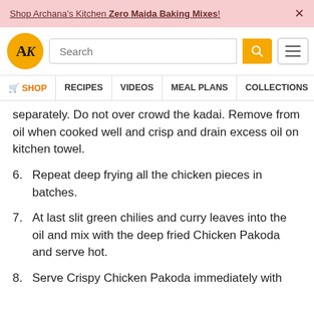Shop Archana's Kitchen Zero Maida Baking Mixes! ×
[Figure (logo): Archana's Kitchen logo - AK in orange circle, search bar with orange search button, hamburger menu icon]
🛒 SHOP | RECIPES | VIDEOS | MEAL PLANS | COLLECTIONS | ART
separately. Do not over crowd the kadai. Remove from oil when cooked well and crisp and drain excess oil on kitchen towel.
6. Repeat deep frying all the chicken pieces in batches.
7. At last slit green chilies and curry leaves into the oil and mix with the deep fried Chicken Pakoda and serve hot.
8. Serve Crispy Chicken Pakoda immediately with